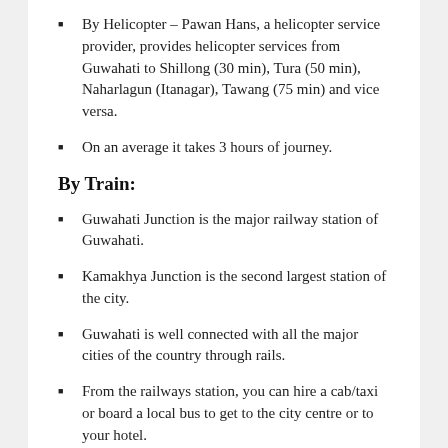By Helicopter – Pawan Hans, a helicopter service provider, provides helicopter services from Guwahati to Shillong (30 min), Tura (50 min), Naharlagun (Itanagar), Tawang (75 min) and vice versa.
On an average it takes 3 hours of journey.
By Train:
Guwahati Junction is the major railway station of Guwahati.
Kamakhya Junction is the second largest station of the city.
Guwahati is well connected with all the major cities of the country through rails.
From the railways station, you can hire a cab/taxi or board a local bus to get to the city centre or to your hotel.
By Road: